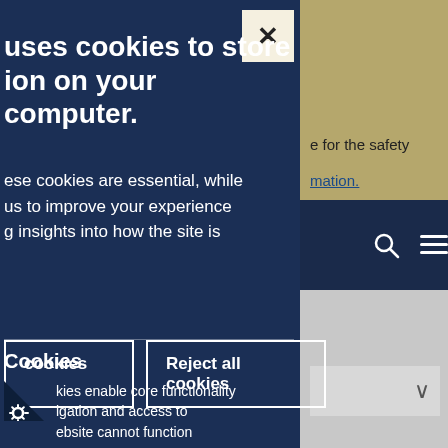[Figure (screenshot): Cookie consent modal overlay on a government/institutional website. Dark navy blue modal on left side with close button (X), title text about cookies storing information, body text about essential and optional cookies, two buttons (accept/reject), divider, and Necessary Cookies section at bottom. Right side shows partial website with gold/tan header area, dark navy nav bar with search and menu icons, and gray content area with dropdown chevron.]
uses cookies to store ion on your computer.
ese cookies are essential, while us to improve your experience g insights into how the site is
Reject all cookies
Cookies
kies enable core functionality igation and access to ebsite cannot function